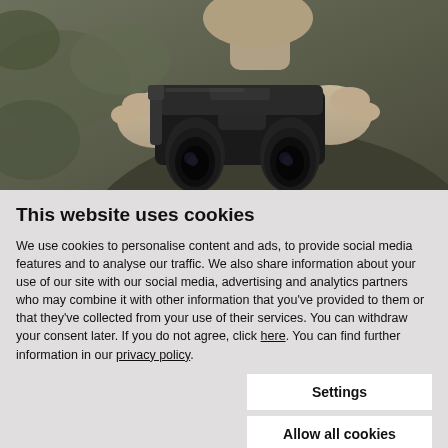[Figure (photo): Close-up photo of a person holding binoculars up to their face, wearing camouflage clothing, with green foliage in background. Black and white/desaturated tone.]
This website uses cookies
We use cookies to personalise content and ads, to provide social media features and to analyse our traffic. We also share information about your use of our site with our social media, advertising and analytics partners who may combine it with other information that you've provided to them or that they've collected from your use of their services. You can withdraw your consent later. If you do not agree, click here. You can find further information in our privacy policy.
Settings
Allow all cookies